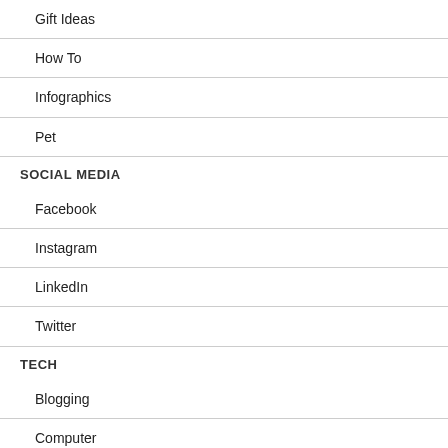Gift Ideas
How To
Infographics
Pet
SOCIAL MEDIA
Facebook
Instagram
LinkedIn
Twitter
TECH
Blogging
Computer